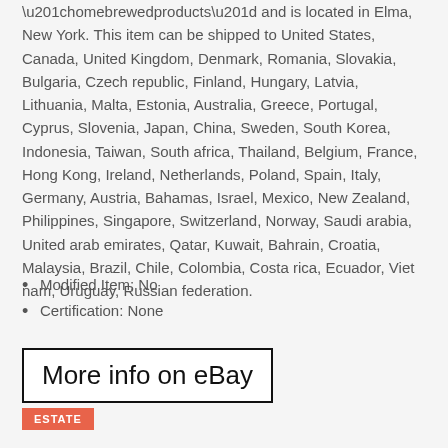“homebrewedproducts” and is located in Elma, New York. This item can be shipped to United States, Canada, United Kingdom, Denmark, Romania, Slovakia, Bulgaria, Czech republic, Finland, Hungary, Latvia, Lithuania, Malta, Estonia, Australia, Greece, Portugal, Cyprus, Slovenia, Japan, China, Sweden, South Korea, Indonesia, Taiwan, South africa, Thailand, Belgium, France, Hong Kong, Ireland, Netherlands, Poland, Spain, Italy, Germany, Austria, Bahamas, Israel, Mexico, New Zealand, Philippines, Singapore, Switzerland, Norway, Saudi arabia, United arab emirates, Qatar, Kuwait, Bahrain, Croatia, Malaysia, Brazil, Chile, Colombia, Costa rica, Ecuador, Viet nam, Uruguay, Russian federation.
Modified Item: No
Certification: None
More info on eBay
ESTATE